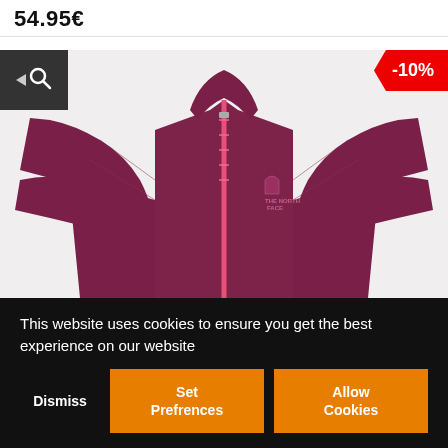54.95€
[Figure (photo): North Face burgundy/wine colored full-zip fleece jacket with pink zipper and North Face logo on left chest. Product shot showing upper body of jacket on white background. Overlaid with search icon button (dark background) at top-left and -10% red discount badge at top-right.]
This website uses cookies to ensure you get the best experience on our website
Dismiss
Set Prefrences
Allow Cookies